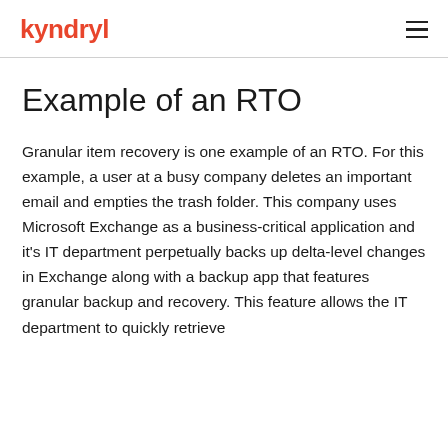kyndryl
Example of an RTO
Granular item recovery is one example of an RTO. For this example, a user at a busy company deletes an important email and empties the trash folder. This company uses Microsoft Exchange as a business-critical application and it's IT department perpetually backs up delta-level changes in Exchange along with a backup app that features granular backup and recovery. This feature allows the IT department to quickly retrieve